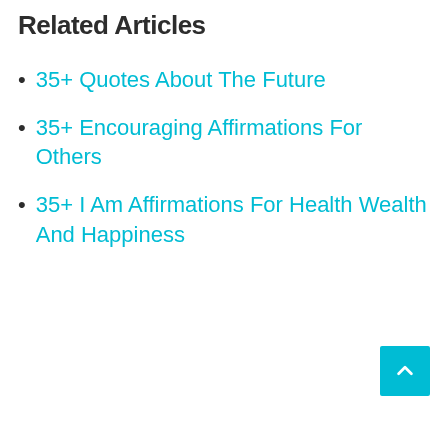Related Articles
35+ Quotes About The Future
35+ Encouraging Affirmations For Others
35+ I Am Affirmations For Health Wealth And Happiness